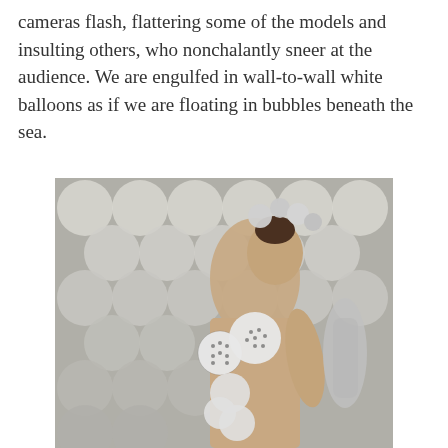cameras flash, flattering some of the models and insulting others, who nonchalantly sneer at the audience. We are engulfed in wall-to-wall white balloons as if we are floating in bubbles beneath the sea.
[Figure (photo): A fashion model photographed from behind, turned to face the camera over her shoulder. She wears an avant-garde outfit and headpiece made of large spherical balls — silver/metallic ones on her head and black-and-white dotted/textured spheres arranged along her back. The background wall is covered in large white circular disk shapes arranged in a pattern, evoking bubbles.]